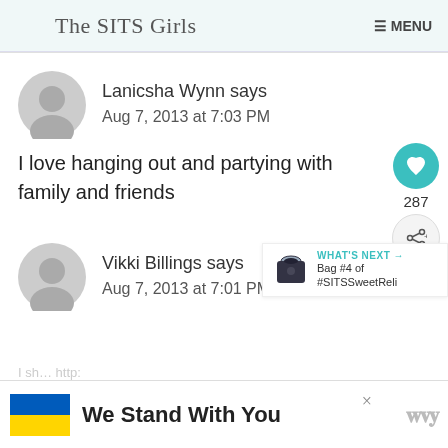The SITS Girls   ≡ MENU
Lanicsha Wynn says
Aug 7, 2013 at 7:03 PM
I love hanging out and partying with family and friends
287
Vikki Billings says
Aug 7, 2013 at 7:01 PM
WHAT'S NEXT → Bag #4 of #SITSSweetReli
We Stand With You